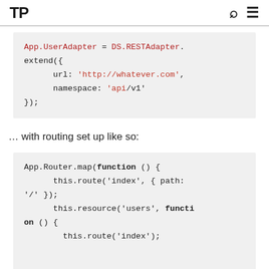TP [search icon] [menu icon]
[Figure (screenshot): Code block showing: App.UserAdapter = DS.RESTAdapter.extend({ url: 'http://whatever.com', namespace: 'api/v1' });]
… with routing set up like so:
[Figure (screenshot): Code block showing: App.Router.map(function () { this.route('index', { path: '/' }); this.resource('users', function () { this.route('index'); (cut off)]